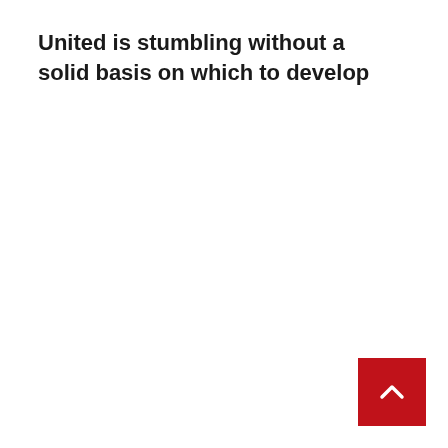United is stumbling without a solid basis on which to develop
[Figure (other): Red scroll-to-top button with white chevron arrow in bottom-right corner]